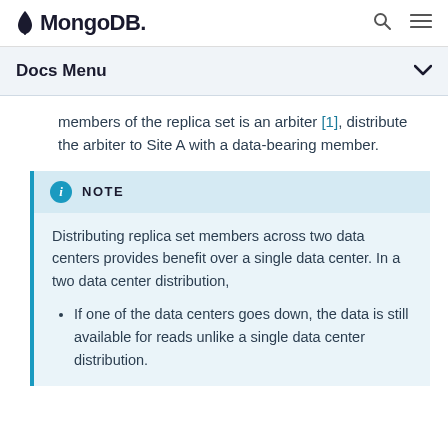MongoDB
Docs Menu
members of the replica set is an arbiter [1], distribute the arbiter to Site A with a data-bearing member.
NOTE
Distributing replica set members across two data centers provides benefit over a single data center. In a two data center distribution,
If one of the data centers goes down, the data is still available for reads unlike a single data center distribution.